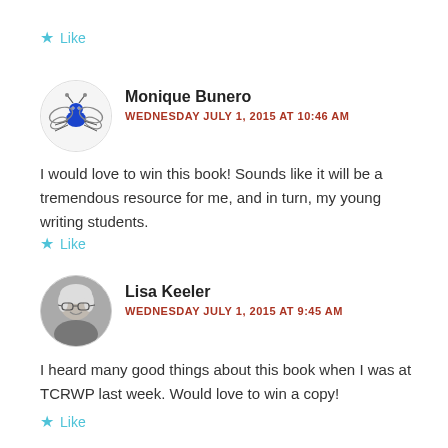Like
[Figure (illustration): Circular avatar with cartoon blue bug/butterfly character on white background]
Monique Bunero
WEDNESDAY JULY 1, 2015 AT 10:46 AM
I would love to win this book! Sounds like it will be a tremendous resource for me, and in turn, my young writing students.
Like
[Figure (photo): Circular avatar with grayscale photo of a woman with glasses and light hair, smiling]
Lisa Keeler
WEDNESDAY JULY 1, 2015 AT 9:45 AM
I heard many good things about this book when I was at TCRWP last week. Would love to win a copy!
Like